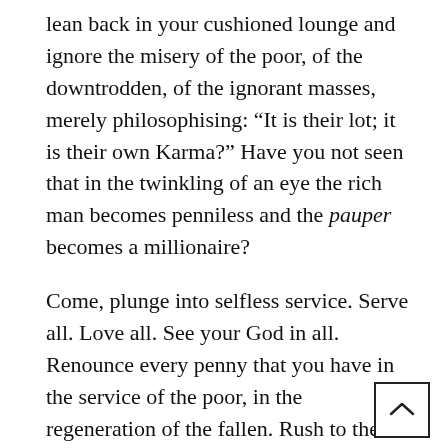lean back in your cushioned lounge and ignore the misery of the poor, of the downtrodden, of the ignorant masses, merely philosophising: “It is their lot; it is their own Karma?” Have you not seen that in the twinkling of an eye the rich man becomes penniless and the pauper becomes a millionaire?
Come, plunge into selfless service. Serve all. Love all. See your God in all. Renounce every penny that you have in the service of the poor, in the regeneration of the fallen. Rush to the aid of the Lord that walks on the road with his begging bowl. Hasten to the aid of the hapless and the helpless sick and relieve their suffering. Greet the half-naked, poverty-stricken God-in-human-form with a smile, reverence and sympathy. Clothe the naked. Feed the poor. Educate the illiterate. Nurse the sick. Raise the downtrodden.